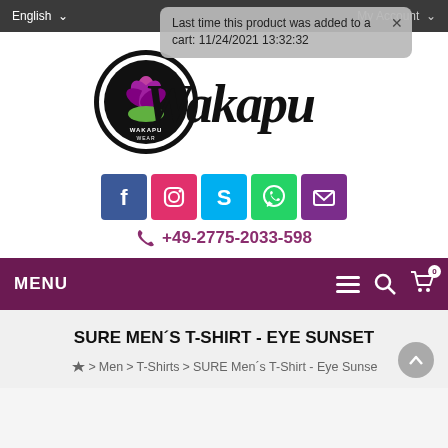English  My Account
Last time this product was added to a cart: 11/24/2021 13:32:32
[Figure (logo): Wakapu Wear logo with lotus flower and stylized Wakapu script text]
[Figure (infographic): Social media icons: Facebook, Instagram, Skype, WhatsApp, Email]
+49-2775-2033-598
MENU
SURE MEN´S T-SHIRT - EYE SUNSET
Home > Men > T-Shirts > SURE Men´s T-Shirt - Eye Sunset